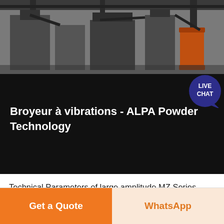[Figure (photo): Industrial machinery/mill equipment in a factory setting, dark tones]
Broyeur à vibrations - ALPA Powder Technology
Technical Parameters of large amplitude MZ Series Vibration Mill Paramétres techniques du broyeur à vibrations spécial série MZ pour la médecine traditionnelle chinoise Remarque: La capacité de production est étroitement liée à la taille des particules, à la densité, à la dureté, à l'humidité et à d'autres indicateurs des .
Get More
Get a Quote
WhatsApp